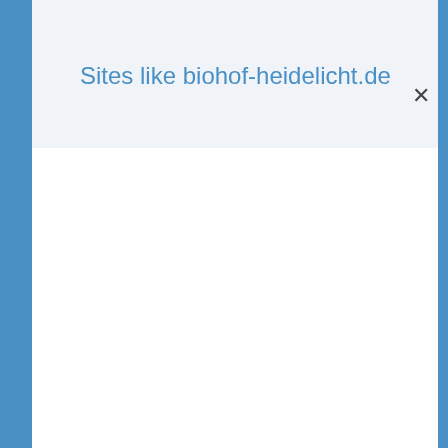Sites like biohof-heidelicht.de